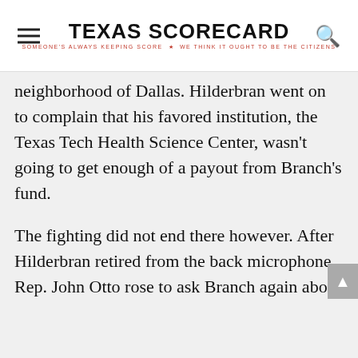TEXAS SCORECARD — SOMEONE'S ALWAYS KEEPING SCORE. WE THINK IT OUGHT TO BE THE CITIZENS
neighborhood of Dallas. Hilderbran went on to complain that his favored institution, the Texas Tech Health Science Center, wasn't going to get enough of a payout from Branch's fund.
The fighting did not end there however. After Hilderbran retired from the back microphone, Rep. John Otto rose to ask Branch again about